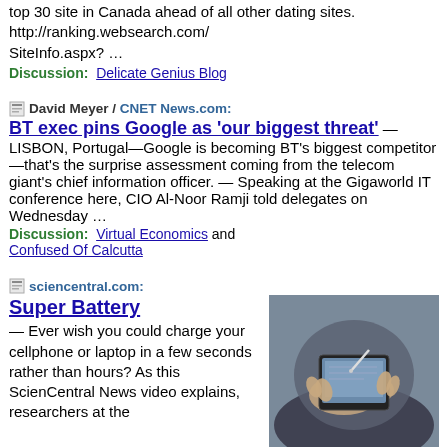top 30 site in Canada ahead of all other dating sites. http://ranking.websearch.com/SiteInfo.aspx? …
Discussion:  Delicate Genius Blog
David Meyer / CNET News.com:
BT exec pins Google as 'our biggest threat' — LISBON, Portugal—Google is becoming BT's biggest competitor—that's the surprise assessment coming from the telecom giant's chief information officer.  — Speaking at the Gigaworld IT conference here, CIO Al-Noor Ramji told delegates on Wednesday …
Discussion:  Virtual Economics and Confused Of Calcutta
sciencentral.com:
Super Battery — Ever wish you could charge your cellphone or laptop in a few seconds rather than hours? As this ScienCentral News video explains, researchers at the
[Figure (photo): Person using a handheld device, viewed from above]